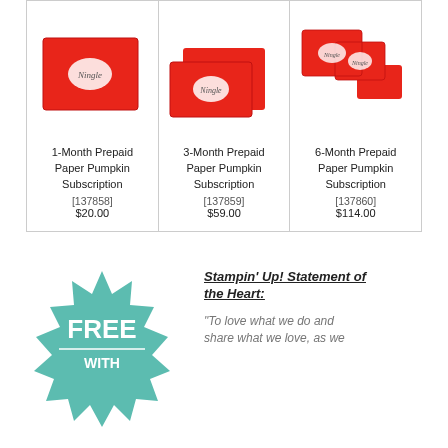[Figure (photo): Three products shown side by side: 1-Month, 3-Month, and 6-Month Prepaid Paper Pumpkin Subscription boxes. Red gift boxes of increasing quantity.]
1-Month Prepaid Paper Pumpkin Subscription [137858] $20.00
3-Month Prepaid Paper Pumpkin Subscription [137859] $59.00
6-Month Prepaid Paper Pumpkin Subscription [137860] $114.00
[Figure (illustration): Teal/mint starburst badge with text FREE WITH in white]
Stampin' Up! Statement of the Heart: "To love what we do and share what we love, as we...